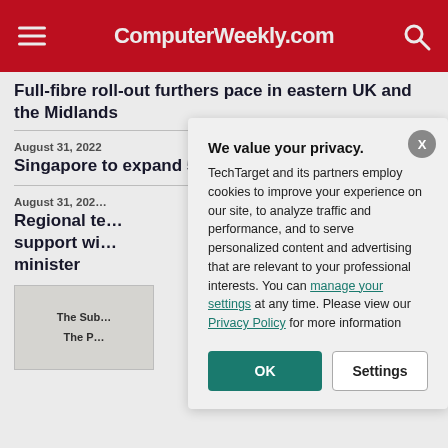ComputerWeekly.com
Full-fibre roll-out furthers pace in eastern UK and the Midlands
August 31, 2022
Singapore to expand 5G coverage to seaport
August 31, 2022
Regional te... support wi... minister
[Figure (screenshot): Privacy consent modal dialog from TechTarget/ComputerWeekly.com with 'We value your privacy.' heading, cookie policy text, manage your settings and Privacy Policy links, and OK/Settings buttons]
The Sub...
The P...